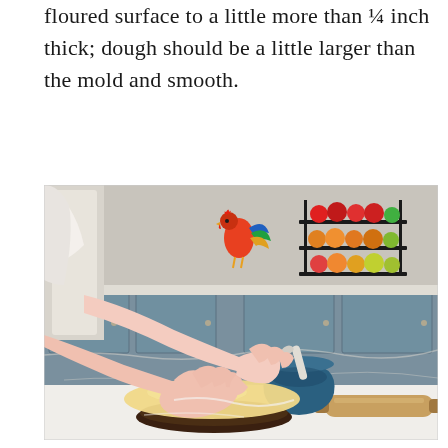floured surface to a little more than ¼ inch thick; dough should be a little larger than the mold and smooth.
[Figure (photo): Person's hands placing a round, flat piece of rolled dough onto a dark circular mold/pan on a white marble countertop. A rolling pin and a small blue mortar and pestle are visible in the background, along with a kitchen counter with a tiered fruit stand holding colorful fruits.]